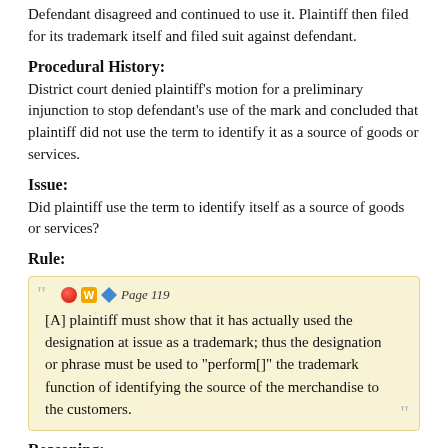Defendant disagreed and continued to use it. Plaintiff then filed for its trademark itself and filed suit against defendant.
Procedural History:
District court denied plaintiff's motion for a preliminary injunction to stop defendant's use of the mark and concluded that plaintiff did not use the term to identify it as a source of goods or services.
Issue:
Did plaintiff use the term to identify itself as a source of goods or services?
Rule:
[Figure (other): Quoted legal rule in a highlighted box with icons and page reference. Text: [A] plaintiff must show that it has actually used the designation at issue as a trademark; thus the designation or phrase must be used to "perform[]" the trademark function of identifying the source of the merchandise to the customers.]
Reasoning:
Plaintiff produced 24 unique documents where they used the